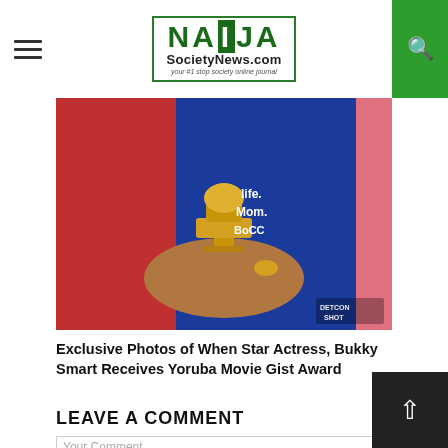NaijaS SocietyNews.com — your #1 stop society online journal
[Figure (photo): Two people holding a golden trophy award. One person in a red outfit and one in a blue outfit reading WIFE MOM BOCC. Watermark reads DETCON SHOT in bottom right.]
Exclusive Photos of When Star Actress, Bukky Smart Receives Yoruba Movie Gist Award
LEAVE A COMMENT
Your Comment